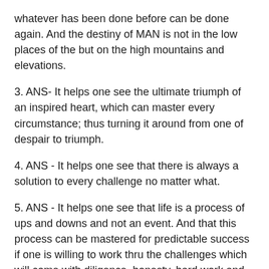whatever has been done before can be done again. And the destiny of MAN is not in the low places of the but on the high mountains and elevations.
3. ANS- It helps one see the ultimate triumph of an inspired heart, which can master every circumstance; thus turning it around from one of despair to triumph.
4. ANS - It helps one see that there is always a solution to every challenge no matter what.
5. ANS - It helps one see that life is a process of ups and downs and not an event. And that this process can be mastered for predictable success if one is willing to work thru the challenges which will come with diligence, honesty, hard work and commitment ; into a brighter day.
6. ANS - It helps us harness the inner strength born of Inspiration, which helps us survive the difficult days and lift